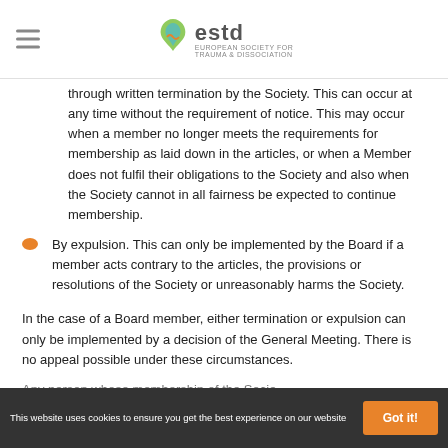estd
through written termination by the Society. This can occur at any time without the requirement of notice. This may occur when a member no longer meets the requirements for membership as laid down in the articles, or when a Member does not fulfil their obligations to the Society and also when the Society cannot in all fairness be expected to continue membership.
By expulsion. This can only be implemented by the Board if a member acts contrary to the articles, the provisions or resolutions of the Society or unreasonably harms the Society.
In the case of a Board member, either termination or expulsion can only be implemented by a decision of the General Meeting. There is no appeal possible under these circumstances.
Any person whose membership of the Socie…